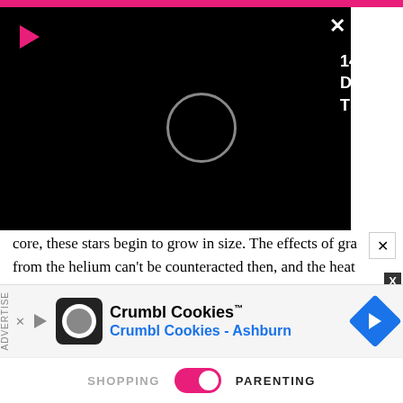[Figure (screenshot): Video player overlay panel (black background) showing a play button, circular loading indicator, and video title '14 Month Old Baby - Growth, Development, Activities & Care Tips' in white text on black]
core, these stars begin to grow in size. The effects of gra from the helium can't be counteracted then, and the heat gets released due to a sudden collapse of these masses. After the layers of gas compress, the helium core shrinks, and the hydrogen outer shells burn out. The solar radii of the star grow when the outer shell expands due to the resulting radiating pressure from the gases. The increase in size is followed by a drop in temperature, which causes the star to gain its reddish appearance, hence the name 'Red Giant Star'.
[Figure (screenshot): Crumbl Cookies advertisement banner showing brand logo, 'Crumbl Cookies™' title in black, 'Crumbl Cookies - Ashburn' subtitle in blue, navigation arrow icon in blue diamond shape]
SHOPPING   PARENTING